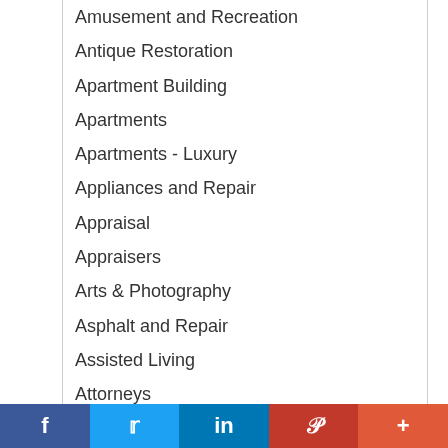Amusement and Recreation
Antique Restoration
Apartment Building
Apartments
Apartments - Luxury
Appliances and Repair
Appraisal
Appraisers
Arts & Photography
Asphalt and Repair
Assisted Living
Attorneys
Attractions
Auto Body
f  t  in  P  +